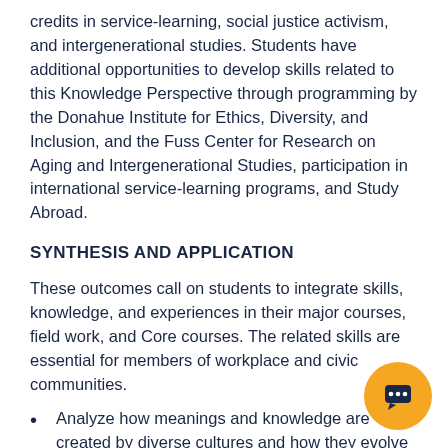credits in service-learning, social justice activism, and intergenerational studies. Students have additional opportunities to develop skills related to this Knowledge Perspective through programming by the Donahue Institute for Ethics, Diversity, and Inclusion, and the Fuss Center for Research on Aging and Intergenerational Studies, participation in international service-learning programs, and Study Abroad.
SYNTHESIS AND APPLICATION
These outcomes call on students to integrate skills, knowledge, and experiences in their major courses, field work, and Core courses. The related skills are essential for members of workplace and civic communities.
Analyze how meanings and knowledge are created by diverse cultures and how they evolve over time.
Many of the Knowledge Perspectives and...